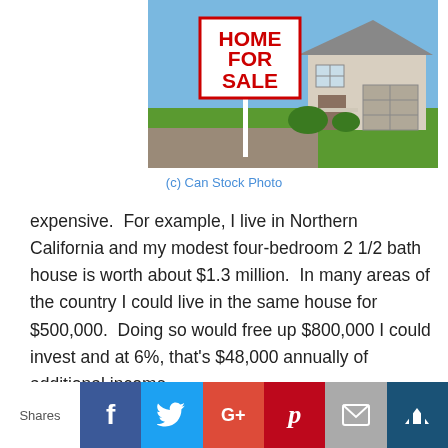[Figure (photo): A 'Home For Sale' real estate sign in front of a house with green lawn and sky background]
(c) Can Stock Photo
expensive.  For example, I live in Northern California and my modest four-bedroom 2 1/2 bath house is worth about $1.3 million.  In many areas of the country I could live in the same house for $500,000.  Doing so would free up $800,000 I could invest and at 6%, that's $48,000 annually of additional income.
[Figure (infographic): Social sharing bar with Facebook, Twitter, Google+, Pinterest, Email, and bookmark buttons. Label 'Shares' on the left.]